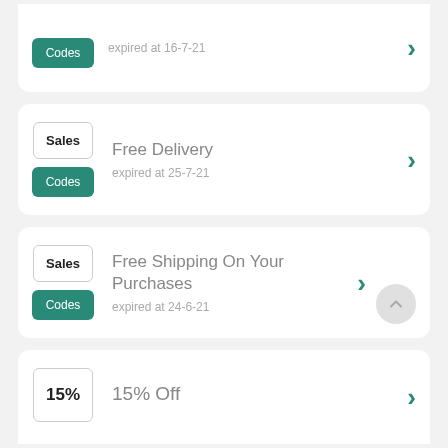Codes — expired at 16-7-21
Sales / Codes — Free Delivery — expired at 25-7-21
Sales / Codes — Free Shipping On Your Purchases — expired at 24-6-21
15% — 15% Off